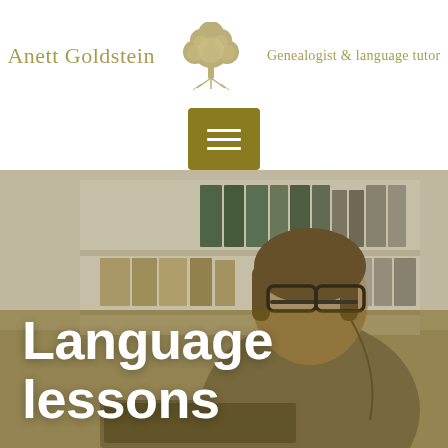Anett Goldstein — Genealogist & language tutor
[Figure (logo): Tree logo with roots — Anett Goldstein Genealogist & language tutor brand mark]
[Figure (photo): Young man with glasses and earphones smiling at a laptop in an office/library setting, with bookshelves and ring binders in background. Overlay text reads 'Language lessons'.]
Language lessons